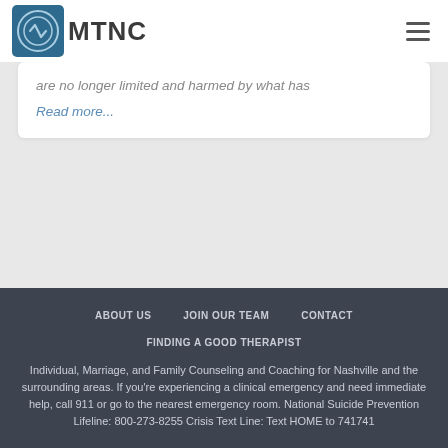MTNC
are no longer limited and harmed by what has
Read more...
ABOUT US   JOIN OUR TEAM   CONTACT

FINDING A GOOD THERAPIST

Individual, Marriage, and Family Counseling and Coaching for Nashville and the surrounding areas. If you're experiencing a clinical emergency and need immediate help, call 911 or go to the nearest emergency room. National Suicide Prevention Lifeline: 800-273-8255 Crisis Text Line: Text HOME to 741741